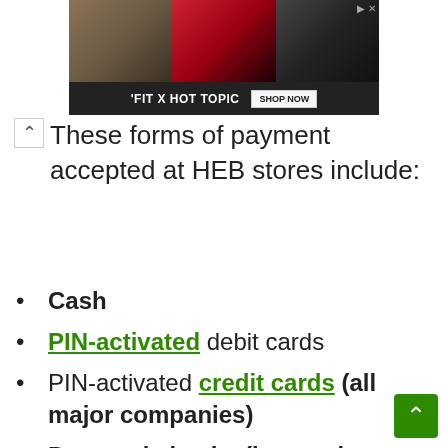[Figure (photo): Advertisement banner for 'FIT X HOT TOPIC' featuring three young people against dark backgrounds, with a 'SHOP NOW' button]
These forms of payment accepted at HEB stores include:
Cash
PIN-activated debit cards
PIN-activated credit cards (all major companies)
Personal checks (in certain stores)
Gift cards